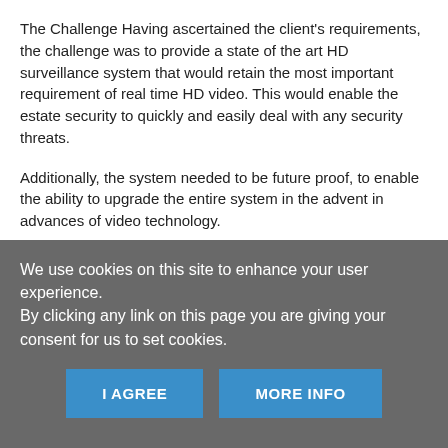The Challenge Having ascertained the client's requirements, the challenge was to provide a state of the art HD surveillance system that would retain the most important requirement of real time HD video. This would enable the estate security to quickly and easily deal with any security threats.
Additionally, the system needed to be future proof, to enable the ability to upgrade the entire system in the advent in advances of video technology.
All except for 3 local cameras were cabled with a new fibre backbone utilising Genie's HD-SDI to Fibre
We use cookies on this site to enhance your user experience.
By clicking any link on this page you are giving your consent for us to set cookies.